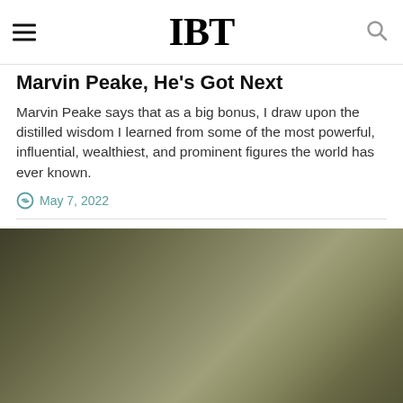IBT
Marvin Peake, He's Got Next
Marvin Peake says that as a big bonus, I draw upon the distilled wisdom I learned from some of the most powerful, influential, wealthiest, and prominent figures the world has ever known.
May 7, 2022
[Figure (photo): Blurred/out-of-focus photo with olive green and tan tones, appearing to show an outdoor scene.]